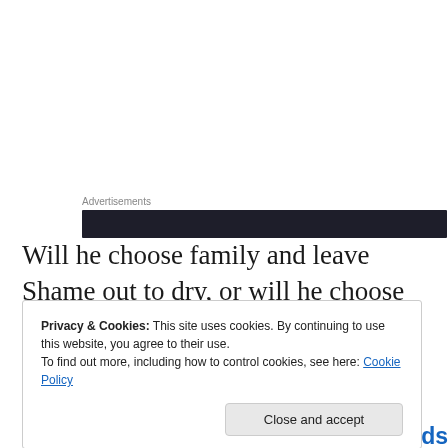Advertisements
[Figure (other): Dark advertisement banner bar]
Will he choose family and leave Shame out to dry, or will he choose the only friend he's ever had, despite the danger?
Amazon   Barnes and Noble   Goodreads
Privacy & Cookies: This site uses cookies. By continuing to use this website, you agree to their use.
To find out more, including how to control cookies, see here: Cookie Policy
Close and accept